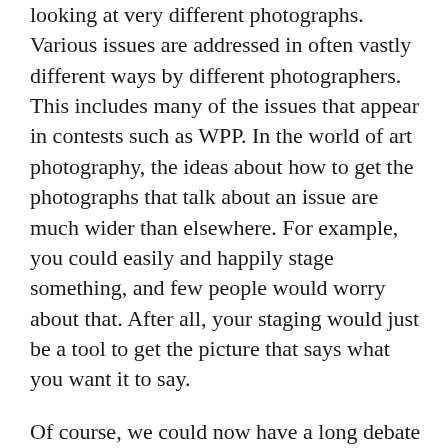looking at very different photographs. Various issues are addressed in often vastly different ways by different photographers. This includes many of the issues that appear in contests such as WPP. In the world of art photography, the ideas about how to get the photographs that talk about an issue are much wider than elsewhere. For example, you could easily and happily stage something, and few people would worry about that. After all, your staging would just be a tool to get the picture that says what you want it to say.
Of course, we could now have a long debate about who does it better, or who approaches the idea of photography in a more appropriate way, and what any of that might tell us about photography. I don't mean to say that such debates lack merit. But, and this is my main problem here, such a debate will have to take into consideration the world of photography as it exists